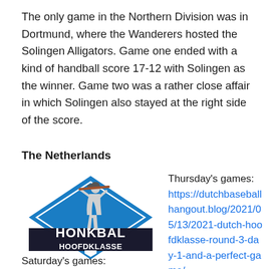The only game in the Northern Division was in Dortmund, where the Wanderers hosted the Solingen Alligators. Game one ended with a kind of handball score 17-12 with Solingen as the winner. Game two was a rather close affair in which Solingen also stayed at the right side of the score.
The Netherlands
[Figure (logo): Honkbal Hoofdklasse logo: blue diamond shape with a baseball batter silhouette and text HONKBAL HOOFDKLASSE]
Thursday's games: https://dutchbaseballhangout.blog/2021/05/13/2021-dutch-hoofdklasse-round-3-day-1-and-a-perfect-game/
Saturday's games: